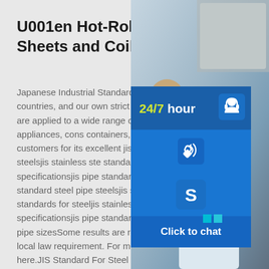U001en Hot-Rolled Steel Sheets and Coils
Japanese Industrial Standards (JIS), the standards of other countries, and our own strict standards. Our Hot-Rolled Steel are applied to a wide range of applications, automobiles, electrical appliances, construction, containers, and steel pipes, and received customers for its excellent jis standard steel standard steel pipe steelsjis stainless steel standards for steeljis stainless steeljis pipe specificationsjis pipe standard dimensionjis pipe sizesjis standard steel pipe steelsjis stainless steel standardjis standards for steeljis stainless steeljis pipe standardjis steel specificationsjis pipe standard dimensionjis steel gradesjis pipe sizesSome results are removed in response to a notice of local law requirement. For more information, please see here.JIS Standard For Steel Pipe -
[Figure (photo): Photo of customer service representatives at work, overlaid with contact widgets including 24/7 hour support icon, phone icon, Skype icon, and Click to chat button]